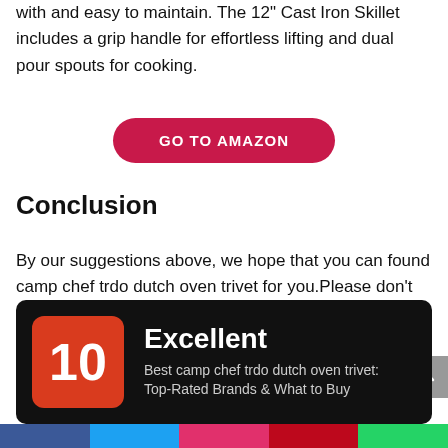with and easy to maintain. The 12" Cast Iron Skillet includes a grip handle for effortless lifting and dual pour spouts for cooking.
[Figure (other): Red pill-shaped button reading GO TO AMAZON]
Conclusion
By our suggestions above, we hope that you can found camp chef trdo dutch oven trivet for you.Please don't forget to share your experience by comment in this post. Thank you!
[Figure (infographic): Black card with orange badge showing '10', bold white text 'Excellent', and subtitle 'Best camp chef trdo dutch oven trivet: Top-Rated Brands & What to Buy']
[Figure (other): Social media sharing bar with colored segments for Facebook, Twitter, Instagram, Pinterest, WhatsApp]